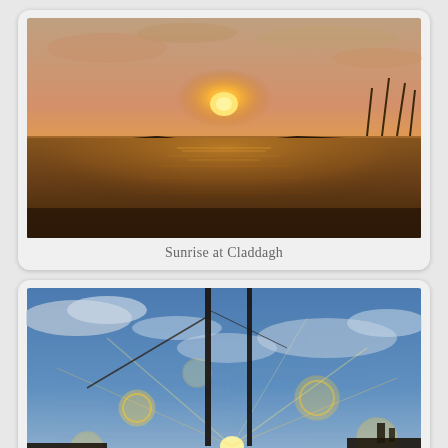[Figure (photo): Sunset/sunrise over Claddagh harbour with water reflection, dark silhouette of pier walls on both sides, orange and golden sky]
Sunrise at Claddagh
[Figure (photo): Sunrise/sunset with lens flare and bokeh circles, silhouettes of boat masts and buildings against blue and cloudy sky with bright sun rays]